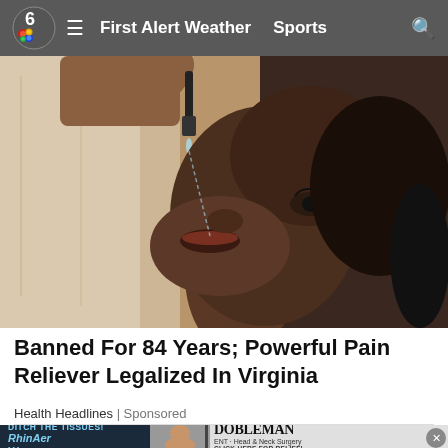6 NBC ≡ First Alert Weather  Sports  🔍
[Figure (photo): A woman tilting her head back and using a dropper to place drops into her mouth, photographed from close up in an indoor setting.]
Banned For 84 Years; Powerful Pain Reliever Legalized In Virginia
Health Headlines | Sponsored
[Figure (photo): Advertisement banner: DITCH THE TISSUES! RhinAer / DOBLEMAN ENT - Head & Neck Surgery CLICK HERE FOR RELIEF!]